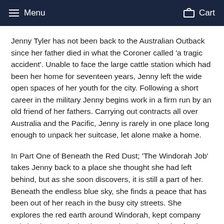Menu  Cart
Jenny Tyler has not been back to the Australian Outback since her father died in what the Coroner called 'a tragic accident'. Unable to face the large cattle station which had been her home for seventeen years, Jenny left the wide open spaces of her youth for the city. Following a short career in the military Jenny begins work in a firm run by an old friend of her fathers. Carrying out contracts all over Australia and the Pacific, Jenny is rarely in one place long enough to unpack her suitcase, let alone make a home.
In Part One of Beneath the Red Dust; 'The Windorah Job' takes Jenny back to a place she thought she had left behind, but as she soon discovers, it is still a part of her. Beneath the endless blue sky, she finds a peace that has been out of her reach in the busy city streets. She explores the red earth around Windorah, kept company only by the enveloping heat and predators hoping for the weak to